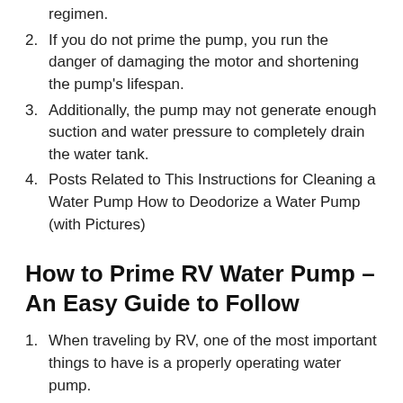regimen.
If you do not prime the pump, you run the danger of damaging the motor and shortening the pump's lifespan.
Additionally, the pump may not generate enough suction and water pressure to completely drain the water tank.
Posts Related to This Instructions for Cleaning a Water Pump How to Deodorize a Water Pump (with Pictures)
How to Prime RV Water Pump – An Easy Guide to Follow
When traveling by RV, one of the most important things to have is a properly operating water pump.